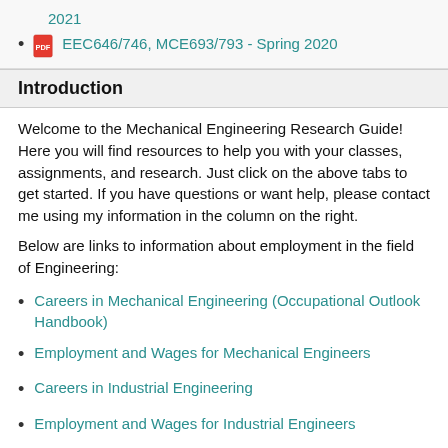2021
EEC646/746, MCE693/793 - Spring 2020
Introduction
Welcome to the Mechanical Engineering Research Guide! Here you will find resources to help you with your classes, assignments, and research. Just click on the above tabs to get started. If you have questions or want help, please contact me using my information in the column on the right.
Below are links to information about employment in the field of Engineering:
Careers in Mechanical Engineering (Occupational Outlook Handbook)
Employment and Wages for Mechanical Engineers
Careers in Industrial Engineering
Employment and Wages for Industrial Engineers